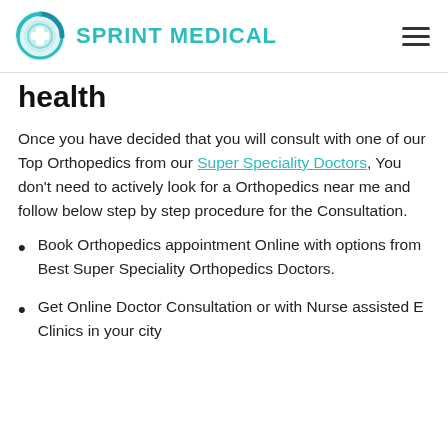SPRINT MEDICAL
health
Once you have decided that you will consult with one of our Top Orthopedics from our Super Speciality Doctors, You don't need to actively look for a Orthopedics near me and follow below step by step procedure for the Consultation.
Book Orthopedics appointment Online with options from Best Super Speciality Orthopedics Doctors.
Get Online Doctor Consultation or with Nurse assisted E Clinics in your city